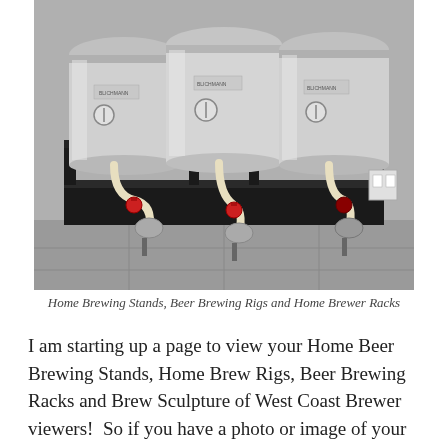[Figure (photo): Three large stainless steel home brewing kettles/pots sitting on a black metal stand/rack with pumps, red valves, and flexible hoses connecting the vessels. Equipment is positioned on a tiled floor.]
Home Brewing Stands, Beer Brewing Rigs and Home Brewer Racks
I am starting up a page to view your Home Beer Brewing Stands, Home Brew Rigs, Beer Brewing Racks and Brew Sculpture of West Coast Brewer viewers!  So if you have a photo or image of your home brewing setup, extract or all grain, big or small, please email them to me at